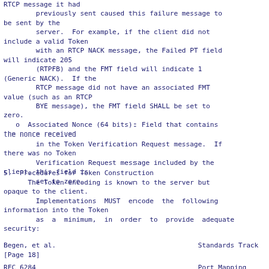RTCP message it had
        previously sent caused this failure message to be sent by the
        server.  For example, if the client did not include a valid Token
        with an RTCP NACK message, the Failed PT field will indicate 205
        (RTPFB) and the FMT field will indicate 1 (Generic NACK).  If the
        RTCP message did not have an associated FMT value (such as an RTCP
        BYE message), the FMT field SHALL be set to zero.
   o  Associated Nonce (64 bits): Field that contains the nonce received
        in the Token Verification Request message.  If there was no Token
        Verification Request message included by the client, this field is
        set to zero.
5.  Procedures for Token Construction
The Token encoding is known to the server but opaque to the client.
        Implementations MUST encode the following information into the Token
        as a minimum, in order to provide adequate security:
Begen, et al.                                   Standards Track
[Page 18]
RFC 6284                                        Port Mapping